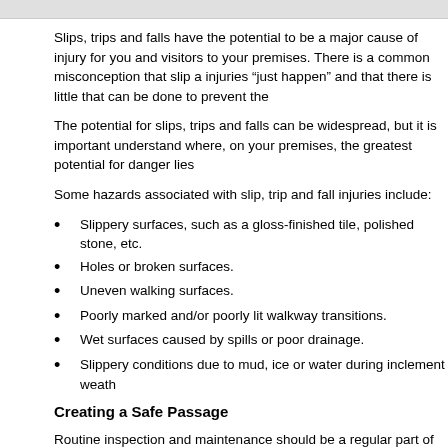Slips, trips and falls have the potential to be a major cause of injury for you and visitors to your premises. There is a common misconception that slip and injuries “just happen” and that there is little that can be done to prevent the
The potential for slips, trips and falls can be widespread, but it is important understand where, on your premises, the greatest potential for danger lies
Some hazards associated with slip, trip and fall injuries include:
Slippery surfaces, such as a gloss-finished tile, polished stone, etc.
Holes or broken surfaces.
Uneven walking surfaces.
Poorly marked and/or poorly lit walkway transitions.
Wet surfaces caused by spills or poor drainage.
Slippery conditions due to mud, ice or water during inclement weath
Creating a Safe Passage
Routine inspection and maintenance should be a regular part of your safet help prevent falls for both your visitors and employees.
Design your entrances and walkways to accommodate the expecte foot traffic through your business.
Conduct periodic walkthrough surveys of your premises to help ens property is kept in safe condition.
Ensure all walkways are properly lit.
Maintain all flooring surfaces at all times.
Use slip-resistant floor treatments, especially in areas proven to be
Apply floor treatments to manufacturer’s instructions.